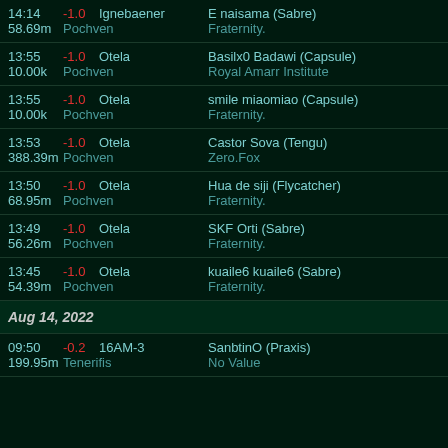14:14 -1.0 Ignebaener | E naisama (Sabre) | 58.69m Pochven | Fraternity.
13:55 -1.0 Otela | Basilx0 Badawi (Capsule) | 10.00k Pochven | Royal Amarr Institute
13:55 -1.0 Otela | smile miaomiao (Capsule) | 10.00k Pochven | Fraternity.
13:53 -1.0 Otela | Castor Sova (Tengu) | 388.39m Pochven | Zero.Fox
13:50 -1.0 Otela | Hua de siji (Flycatcher) | 68.95m Pochven | Fraternity.
13:49 -1.0 Otela | SKF Orti (Sabre) | 56.26m Pochven | Fraternity.
13:45 -1.0 Otela | kuaile6 kuaile6 (Sabre) | 54.39m Pochven | Fraternity.
Aug 14, 2022
09:50 -0.2 16AM-3 | SanbtinO (Praxis) | 199.95m Tenerifis | No Value